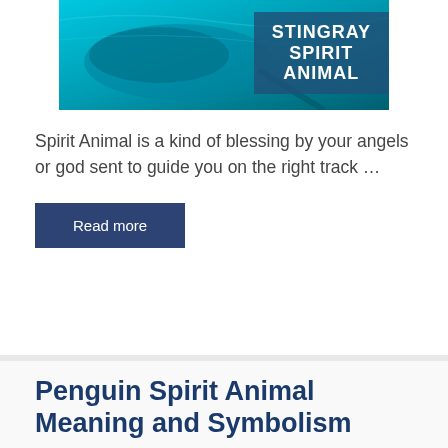[Figure (photo): Stingray underwater photo with overlay text box reading 'STINGRAY SPIRIT ANIMAL' in white bold uppercase text on a semi-transparent dark blue background]
Spirit Animal is a kind of blessing by your angels or god sent to guide you on the right track …
Read more
Penguin Spirit Animal Meaning and Symbolism